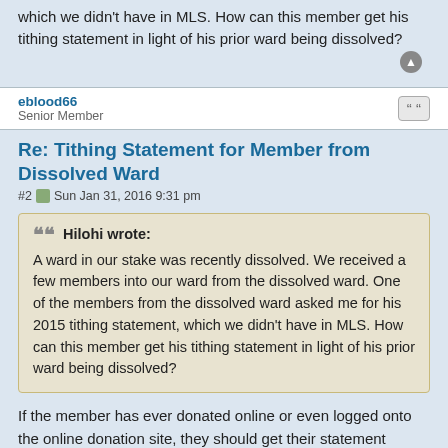which we didn't have in MLS. How can this member get his tithing statement in light of his prior ward being dissolved?
eblood66
Senior Member
Re: Tithing Statement for Member from Dissolved Ward
#2  Sun Jan 31, 2016 9:31 pm
Hilohi wrote:
A ward in our stake was recently dissolved. We received a few members into our ward from the dissolved ward. One of the members from the dissolved ward asked me for his 2015 tithing statement, which we didn't have in MLS. How can this member get his tithing statement in light of his prior ward being dissolved?
If the member has ever donated online or even logged onto the online donation site, they should get their statement online. Even if they haven't done so before, if they have an LDS Account or create one they should be able to get their statement there.
However, if the member did not donate online and If the member donated in both your ward and the prior ward then you should have the records here for the donations in your ward, but...